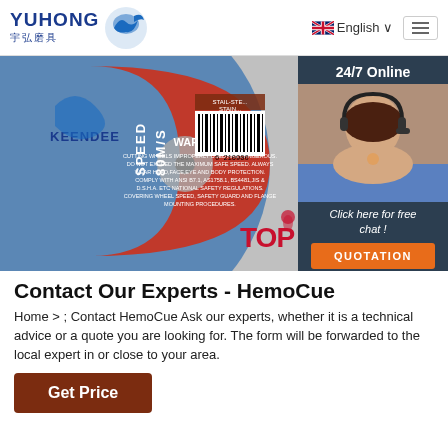[Figure (logo): Yuhong brand logo with Chinese characters 宇弘磨具 and blue wave/dolphin icon]
English
[Figure (photo): Keendee abrasive cutting wheel disc with red label showing SPEED 80M/S and WARNING text, barcode visible]
[Figure (photo): 24/7 Online chat widget with female customer service agent wearing headset, Click here for free chat!, QUOTATION button]
Contact Our Experts - HemoCue
Home > ; Contact HemoCue Ask our experts, whether it is a technical advice or a quote you are looking for. The form will be forwarded to the local expert in or close to your area.
[Figure (logo): TOP logo in red/orange with droplet]
Get Price